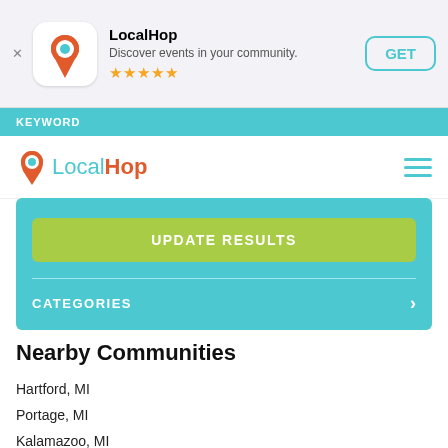[Figure (screenshot): App Store banner for LocalHop app with icon, title, subtitle 'Discover events in your community.', 5 star rating, and GET button]
KEYWORD
[Figure (logo): LocalHop logo with pin icon and text 'LocalHop' in teal and orange, with hamburger menu icon]
UPDATE RESULTS
CATEGORIES
Nearby Communities
Hartford, MI
Portage, MI
Kalamazoo, MI
Parchment, MI
Dowagiac, MI
Plainwell, MI